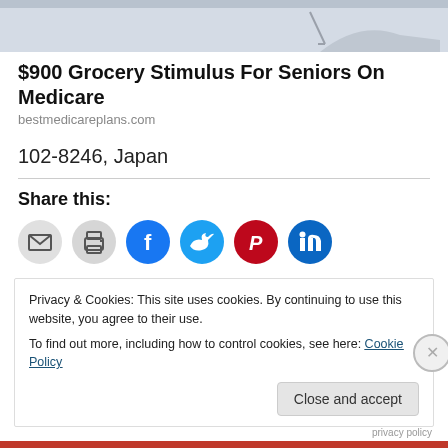[Figure (screenshot): Partial screenshot of an advertisement image at the top of the page, showing a gray/blue tinted banner with some graphic elements.]
$900 Grocery Stimulus For Seniors On Medicare
bestmedicareplans.com
102-8246, Japan
Share this:
[Figure (infographic): Row of social share icon buttons: email (gray), print (gray), Facebook (blue), Twitter (cyan), Pinterest (red), LinkedIn (blue).]
Privacy & Cookies: This site uses cookies. By continuing to use this website, you agree to their use.
To find out more, including how to control cookies, see here: Cookie Policy
Close and accept